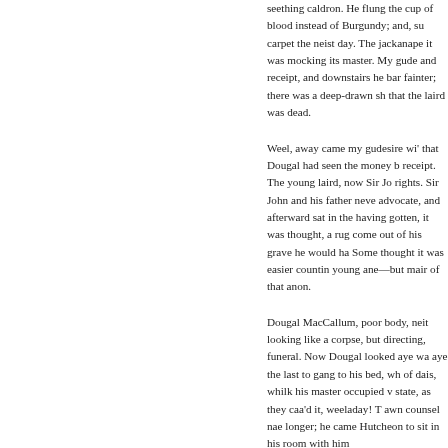seething caldron. He flung the cup of blood instead of Burgundy; and, su carpet the neist day. The jackanape it was mocking its master. My gude and receipt, and downstairs he bar fainter; there was a deep-drawn sh that the laird was dead.
Weel, away came my gudesire wi' that Dougal had seen the money b receipt. The young laird, now Sir Jo rights. Sir John and his father neve advocate, and afterward sat in the having gotten, it was thought, a rug come out of his grave he would ha Some thought it was easier countin young ane—but mair of that anon.
Dougal MacCallum, poor body, neit looking like a corpse, but directing, funeral. Now Dougal looked aye wa aye the last to gang to his bed, wh of dais, whilk his master occupied v state, as they caa'd it, weeladay! T awn counsel nae longer; he came Hutcheon to sit in his room with him